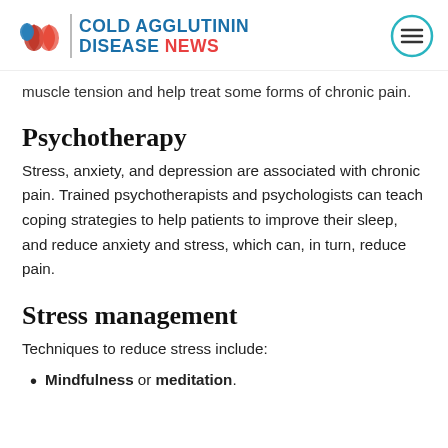COLD AGGLUTININ DISEASE NEWS
muscle tension and help treat some forms of chronic pain.
Psychotherapy
Stress, anxiety, and depression are associated with chronic pain. Trained psychotherapists and psychologists can teach coping strategies to help patients to improve their sleep, and reduce anxiety and stress, which can, in turn, reduce pain.
Stress management
Techniques to reduce stress include:
Mindfulness or meditation.